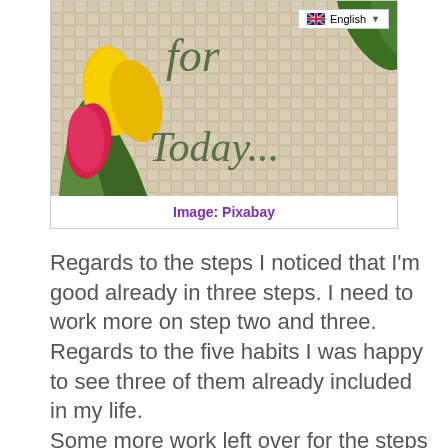[Figure (photo): Decorative photo with tulip flowers (yellow and pink) on a basket-weave background with text 'for Today...' in olive/green italic font, and an English language selector badge in top right corner.]
Image: Pixabay
Regards to the steps I noticed that I'm good already in three steps. I need to work more on step two and three.
Regards to the five habits I was happy to see three of them already included in my life.
Some more work left over for the steps one and two.